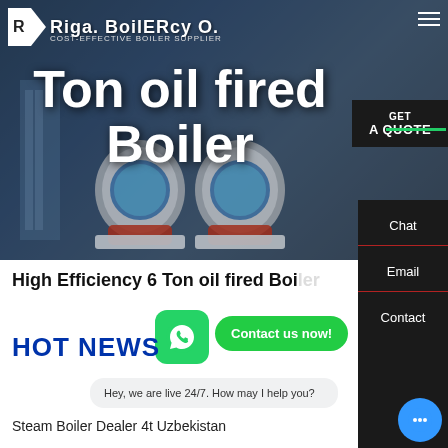[Figure (screenshot): Hero banner of a boiler supplier website showing industrial boilers in background with dark overlay]
Ton oil fired Boiler
COST-EFFECTIVE BOILER SUPPLIER
High Efficiency 6 Ton oil fired Boiler
HOT NEWS
Hey, we are live 24/7. How may I help you?
Steam Boiler Dealer 4t Uzbekistan